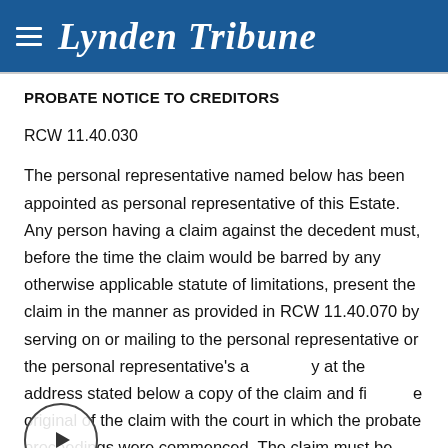Lynden Tribune
PROBATE NOTICE TO CREDITORS
RCW 11.40.030
The personal representative named below has been appointed as personal representative of this Estate. Any person having a claim against the decedent must, before the time the claim would be barred by any otherwise applicable statute of limitations, present the claim in the manner as provided in RCW 11.40.070 by serving on or mailing to the personal representative or the personal representative's attorney at the address stated below a copy of the claim and file the original of the claim with the court in which the probate proceedings were commenced. The claim must be presented within the later of: (1) Thirty days after the